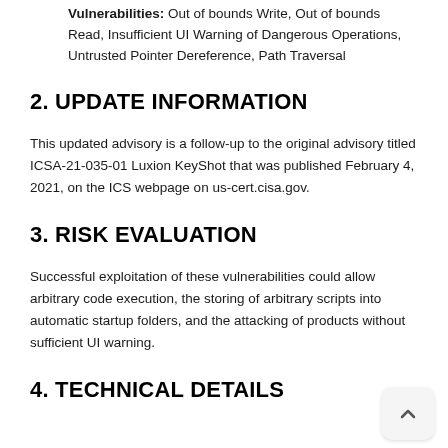Vulnerabilities: Out of bounds Write, Out of bounds Read, Insufficient UI Warning of Dangerous Operations, Untrusted Pointer Dereference, Path Traversal
2. UPDATE INFORMATION
This updated advisory is a follow-up to the original advisory titled ICSA-21-035-01 Luxion KeyShot that was published February 4, 2021, on the ICS webpage on us-cert.cisa.gov.
3. RISK EVALUATION
Successful exploitation of these vulnerabilities could allow arbitrary code execution, the storing of arbitrary scripts into automatic startup folders, and the attacking of products without sufficient UI warning.
4. TECHNICAL DETAILS